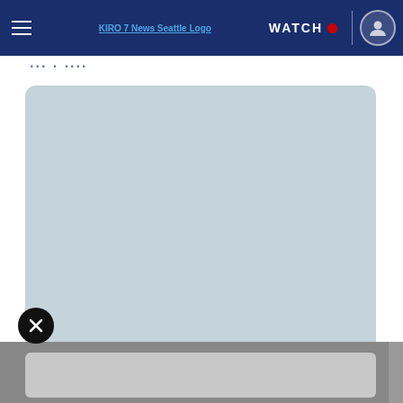KIRO 7 News Seattle Logo | WATCH
...typography...
[Figure (screenshot): Large light blue-gray placeholder content area with rounded corners, representing a loading or placeholder media embed on the KIRO 7 News website.]
[Figure (screenshot): Close/dismiss button (X icon in black circle) overlapping the bottom-left of the content area, and a gray bottom bar area below.]